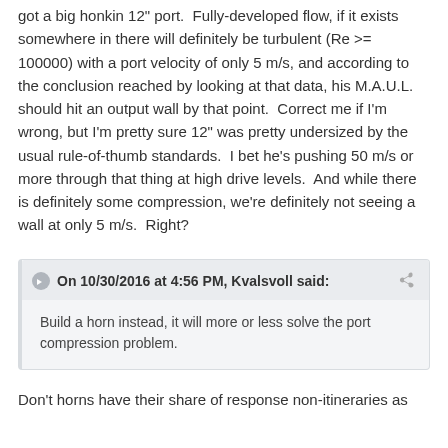got a big honkin 12" port.  Fully-developed flow, if it exists somewhere in there will definitely be turbulent (Re >= 100000) with a port velocity of only 5 m/s, and according to the conclusion reached by looking at that data, his M.A.U.L. should hit an output wall by that point.  Correct me if I'm wrong, but I'm pretty sure 12" was pretty undersized by the usual rule-of-thumb standards.  I bet he's pushing 50 m/s or more through that thing at high drive levels.  And while there is definitely some compression, we're definitely not seeing a wall at only 5 m/s.  Right?
On 10/30/2016 at 4:56 PM, Kvalsvoll said: Build a horn instead, it will more or less solve the port compression problem.
Don't horns have their share of response non-itineraries as